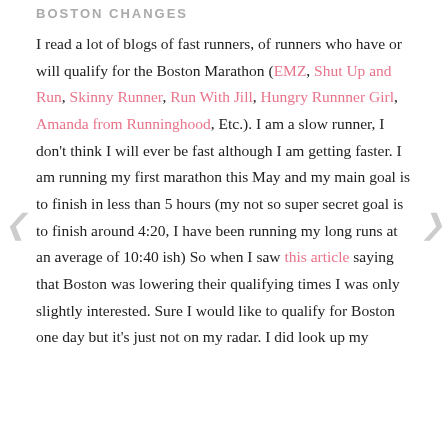BOSTON CHANGES
I read a lot of blogs of fast runners, of runners who have or will qualify for the Boston Marathon (EMZ, Shut Up and Run, Skinny Runner, Run With Jill, Hungry Runnner Girl, Amanda from Runninghood, Etc.). I am a slow runner, I don't think I will ever be fast although I am getting faster. I am running my first marathon this May and my main goal is to finish in less than 5 hours (my not so super secret goal is to finish around 4:20, I have been running my long runs at an average of 10:40 ish) So when I saw this article saying that Boston was lowering their qualifying times I was only slightly interested. Sure I would like to qualify for Boston one day but it's just not on my radar. I did look up my